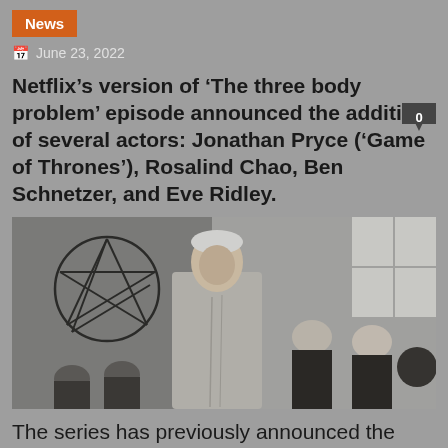News
June 23, 2022
Netflix’s version of ‘The three body problem’ episode announced the addition of several actors: Jonathan Pryce (‘Game of Thrones’), Rosalind Chao, Ben Schnetzer, and Eve Ridley.
[Figure (photo): An elderly man in a grey robe standing prominently in the foreground, with a seven-pointed star symbol on the wall behind him, and other figures dressed in black in the background.]
The series has previously announced the cast of